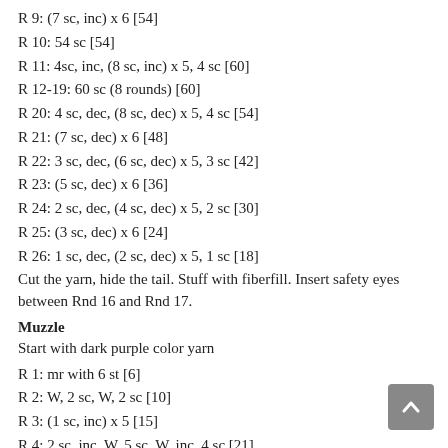R 9: (7 sc, inc) x 6 [54]
R 10: 54 sc [54]
R 11: 4sc, inc, (8 sc, inc) x 5, 4 sc [60]
R 12-19: 60 sc (8 rounds) [60]
R 20: 4 sc, dec, (8 sc, dec) x 5, 4 sc [54]
R 21: (7 sc, dec) x 6 [48]
R 22: 3 sc, dec, (6 sc, dec) x 5, 3 sc [42]
R 23: (5 sc, dec) x 6 [36]
R 24: 2 sc, dec, (4 sc, dec) x 5, 2 sc [30]
R 25: (3 sc, dec) x 6 [24]
R 26: 1 sc, dec, (2 sc, dec) x 5, 1 sc [18]
Cut the yarn, hide the tail. Stuff with fiberfill. Insert safety eyes between Rnd 16 and Rnd 17.
Muzzle
Start with dark purple color yarn
R 1: mr with 6 st [6]
R 2: W, 2 sc, W, 2 sc [10]
R 3: (1 sc, inc) x 5 [15]
R 4: 2 sc, inc, W, 5 sc, W, inc, 4 sc [21]
R 5: (BLO) 21 sc [21]